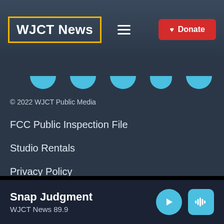WJCT News — Donate
[Figure (screenshot): Social media icons row — five cyan semi-circle icons representing social media platform buttons]
© 2022 WJCT Public Media
FCC Public Inspection File
Studio Rentals
Privacy Policy
Sponsorship Opportunities
Snap Judgment — WJCT News 89.9